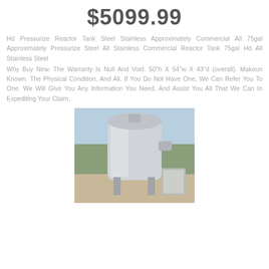$5099.99
Hd Pressurize Reactor Tank Steel Stainless Approximately Commercial All 75gal Approximately Pressurize Steel All Stainless Commercial Reactor Tank 75gal Hd All Stainless Steel
Why Buy New. The Warranty Is Null And Void. 50"h X 54"w X 43"d (overall). Makeun Known. The Physical Condition, And All. If You Do Not Have One, We Can Refer You To One. We Will Give You Any Information You Need, And Assist You All That We Can In Expediting Your Claim.
[Figure (photo): Photo of a stainless steel pressurized reactor tank outdoors]